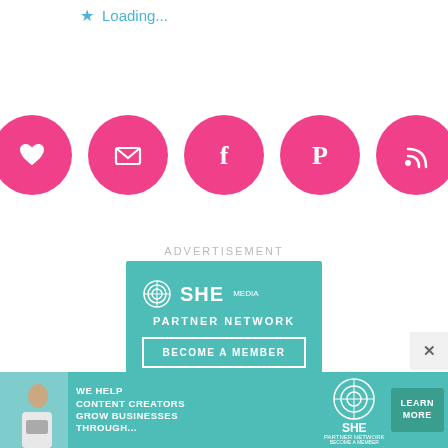Loading...
[Figure (infographic): Five pink circular social media icons in a row: heart/like, email/envelope, Facebook, Pinterest, RSS feed]
ADVERTISEMENT
[Figure (logo): SHE Media Partner Network teal advertisement banner with logo and 'BECOME A MEMBER' button]
[Figure (infographic): Bottom banner ad: SHE Media Partner Network - 'WE HELP CONTENT CREATORS GROW BUSINESSES THROUGH...' with LEARN MORE button and woman with laptop photo]